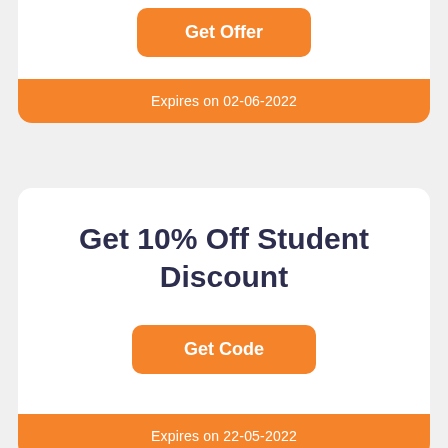Get Offer
Expires on 02-06-2022
Get 10% Off Student Discount
Get Code
Expires on 22-05-2022